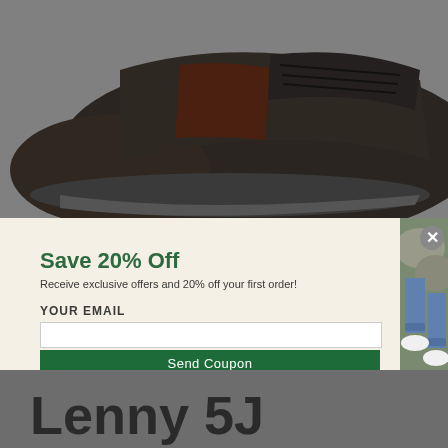[Figure (photo): Close-up photo of a dark brown/charcoal lace-up sneaker/hiking shoe with a reddish-brown stripe, displayed on a grey background]
[Figure (photo): Popup modal with light cream background on left showing email signup form, and on right a photo of a person wearing white sneakers with jeans]
Save 20% Off
Receive exclusive offers and 20% off your first order!
YOUR EMAIL
Send Coupon
Lenny 5J